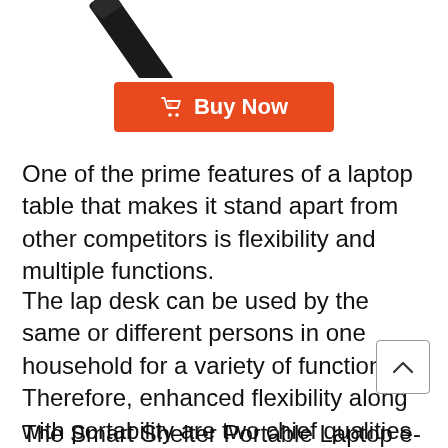[Figure (photo): Partial product image of a laptop table/stand, dark colored, visible at top of page]
[Figure (other): Orange 'Buy Now' button with shopping bag icon]
One of the prime features of a laptop table that makes it stand apart from other competitors is flexibility and multiple functions.
The lap desk can be used by the same or different persons in one household for a variety of functions. Therefore, enhanced flexibility along with portability are two chief qualities a lap desk must possess.
The Smart Shelter Portable Laptop e-Table